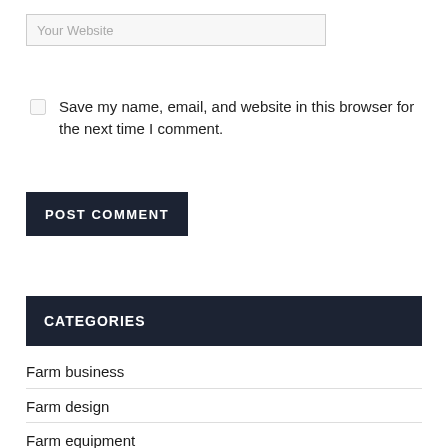Your Website
Save my name, email, and website in this browser for the next time I comment.
POST COMMENT
CATEGORIES
Farm business
Farm design
Farm equipment